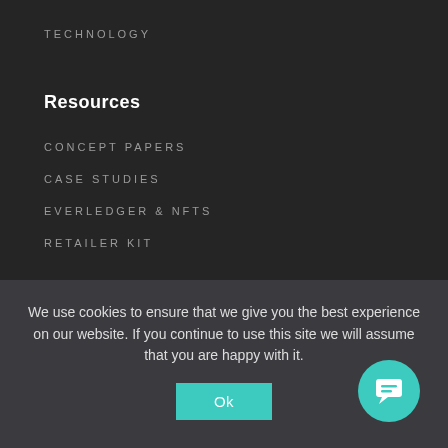TECHNOLOGY
Resources
CONCEPT PAPERS
CASE STUDIES
EVERLEDGER & NFTS
RETAILER KIT
Industry Solutions
We use cookies to ensure that we give you the best experience on our website. If you continue to use this site we will assume that you are happy with it.